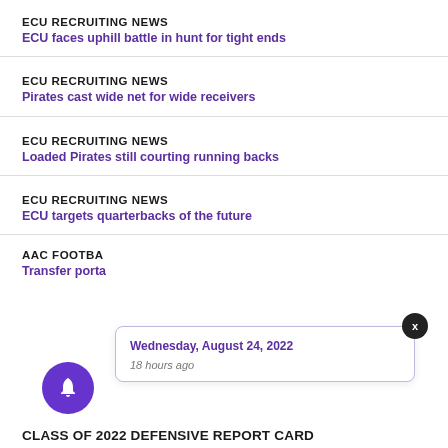ECU RECRUITING NEWS
ECU faces uphill battle in hunt for tight ends
ECU RECRUITING NEWS
Pirates cast wide net for wide receivers
ECU RECRUITING NEWS
Loaded Pirates still courting running backs
ECU RECRUITING NEWS
ECU targets quarterbacks of the future
AAC FOOTBALL
Transfer porta...
Wednesday, August 24, 2022
18 hours ago
CLASS OF 2022 DEFENSIVE REPORT CARD